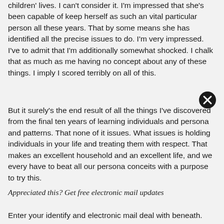children' lives. I can't consider it. I'm impressed that she's been capable of keep herself as such an vital particular person all these years. That by some means she has identified all the precise issues to do. I'm very impressed. I've to admit that I'm additionally somewhat shocked. I chalk that as much as me having no concept about any of these things. I imply I scored terribly on all of this.
But it surely's the end result of all the things I've discovered from the final ten years of learning individuals and persona and patterns. That none of it issues. What issues is holding individuals in your life and treating them with respect. That makes an excellent household and an excellent life, and we every have to beat all our persona conceits with a purpose to try this.
Appreciated this? Get free electronic mail updates
Enter your identify and electronic mail deal with beneath.